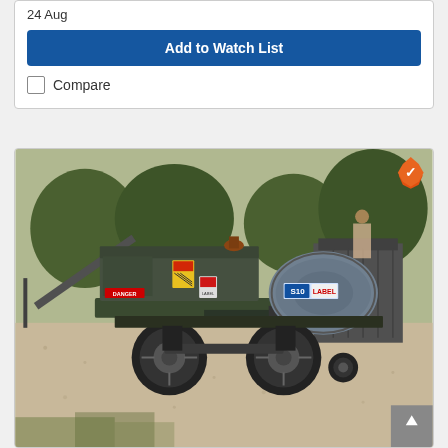24 Aug
Add to Watch List
Compare
[Figure (photo): Photo of a portable generator/power unit on a two-wheeled trailer, dark green/grey color, with yellow warning labels and a red/white sticker on the cylindrical alternator end, outdoors on gravel with trees and other equipment in background. A verified (orange checkmark badge) overlay appears in the top-right corner of the photo.]